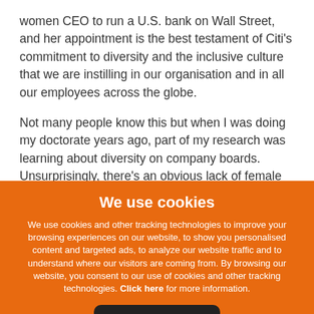women CEO to run a U.S. bank on Wall Street, and her appointment is the best testament of Citi’s commitment to diversity and the inclusive culture that we are instilling in our organisation and in all our employees across the globe.
Not many people know this but when I was doing my doctorate years ago, part of my research was learning about diversity on company boards. Unsurprisingly, there’s an obvious lack of female representation in the
We use cookies
We use cookies and other tracking technologies to improve your browsing experiences on our website, to show you personalised content and targeted ads, to analyze our website traffic and to understand where our visitors are coming from. By browsing our website, you consent to our use of cookies and other tracking technologies. Click here for more information.